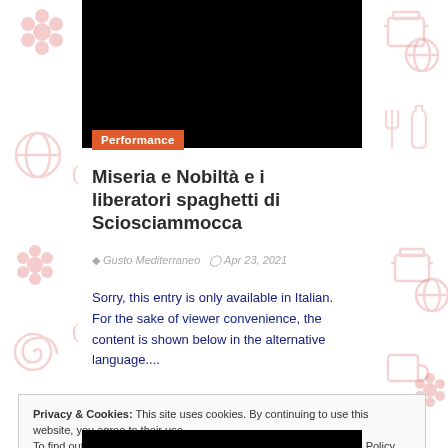[Figure (photo): Black hero image at top of article]
Performance
Miseria e Nobiltà e i liberatori spaghetti di Sciosciammocca
Gusto Mediterraneo   Apr 23, 2021
Sorry, this entry is only available in Italian. For the sake of viewer convenience, the content is shown below in the alternative language....
Privacy & Cookies: This site uses cookies. By continuing to use this website, you agree to their use.
To find out more, including how to control cookies, see here: Cookie Policy
Close and accept